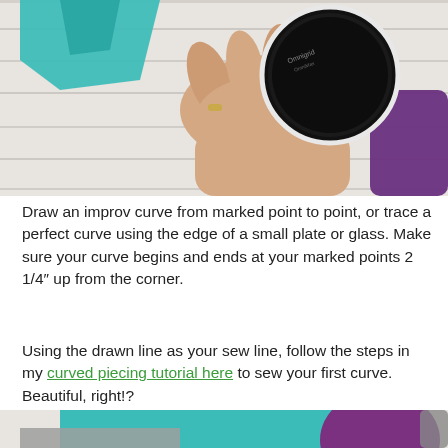[Figure (photo): Close-up photo of a hand pressing down on a circular black object (plate or glass) on a white wooden surface, with teal fabric pieces visible.]
Draw an improv curve from marked point to point, or trace a perfect curve using the edge of a small plate or glass. Make sure your curve begins and ends at your marked points 2 1/4″ up from the corner.
Using the drawn line as your sew line, follow the steps in my curved piecing tutorial here to sew your first curve. Beautiful, right!?
[Figure (photo): Photo of teal, gray, and purple fabric pieces arranged on a white wooden surface, with scissors visible on the right side.]